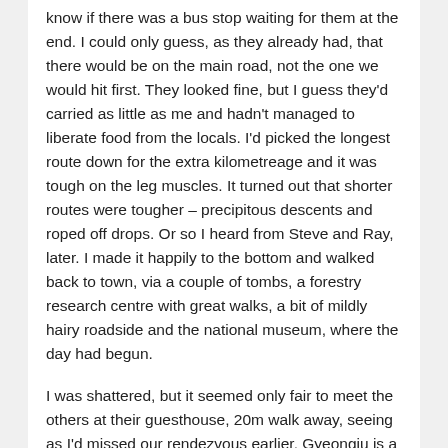know if there was a bus stop waiting for them at the end. I could only guess, as they already had, that there would be on the main road, not the one we would hit first. They looked fine, but I guess they'd carried as little as me and hadn't managed to liberate food from the locals. I'd picked the longest route down for the extra kilometreage and it was tough on the leg muscles. It turned out that shorter routes were tougher – precipitous descents and roped off drops. Or so I heard from Steve and Ray, later. I made it happily to the bottom and walked back to town, via a couple of tombs, a forestry research centre with great walks, a bit of mildly hairy roadside and the national museum, where the day had begun.
I was shattered, but it seemed only fair to meet the others at their guesthouse, 20m walk away, seeing as I'd missed our rendezvous earlier. Gyeongju is a nice mixture of old and new – despite the economic miracle, and the similarities to Japan in parts, it's obvious that parts of South Korea are still poor and